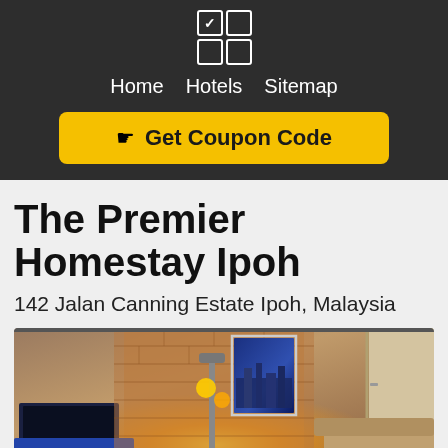Home   Hotels   Sitemap
Get Coupon Code
The Premier Homestay Ipoh
142 Jalan Canning Estate Ipoh, Malaysia
[Figure (photo): Interior photo of The Premier Homestay Ipoh showing a living room with TV, brick wall, artwork, and lamp]